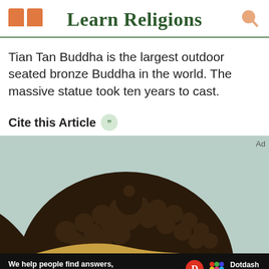Learn Religions
Tian Tan Buddha is the largest outdoor seated bronze Buddha in the world. The massive statue took ten years to cast.
Cite this Article
[Figure (photo): Close-up photograph of the top of a bronze Buddha statue head with curled hair against a light blue-gray background]
We help people find answers, solve problems and get inspired. Dotdash meredith